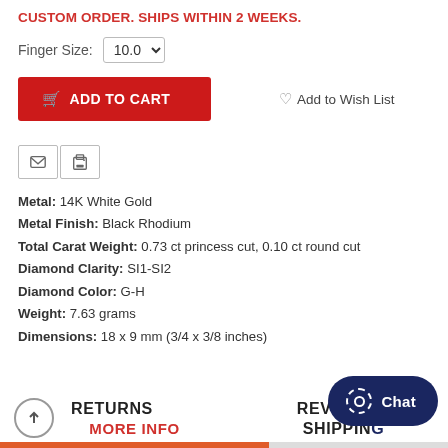CUSTOM ORDER. SHIPS WITHIN 2 WEEKS.
Finger Size: 10.0
ADD TO CART   Add to Wish List
[Figure (screenshot): Email and print icon buttons]
Metal: 14K White Gold
Metal Finish: Black Rhodium
Total Carat Weight: 0.73 ct princess cut, 0.10 ct round cut
Diamond Clarity: SI1-SI2
Diamond Color: G-H
Weight: 7.63 grams
Dimensions: 18 x 9 mm (3/4 x 3/8 inches)
RETURNS
REVIEWS
MORE INFO
SHIPPING
Chat